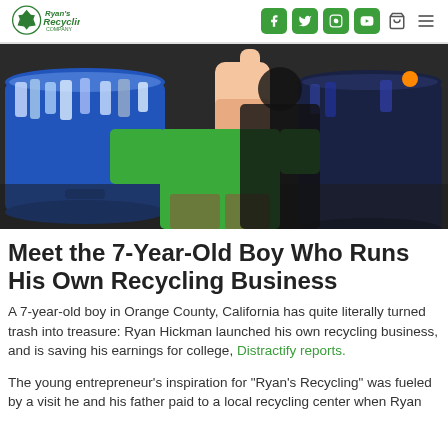Ryan's Recycling Company [logo] [Facebook] [Twitter] [Instagram] [YouTube] [cart] [menu]
[Figure (photo): A child in a green shirt giving a thumbs up in front of large blue barrels/bins filled with plastic bottles for recycling]
Meet the 7-Year-Old Boy Who Runs His Own Recycling Business
A 7-year-old boy in Orange County, California has quite literally turned trash into treasure: Ryan Hickman launched his own recycling business, and is saving his earnings for college, Distractify reports.
The young entrepreneur's inspiration for "Ryan's Recycling" was fueled by a visit he and his father paid to a local recycling center when Ryan